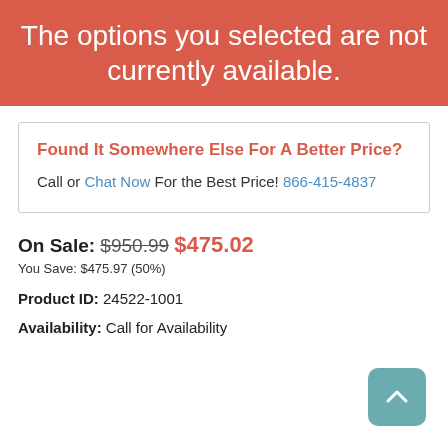The options you selected are not currently available.
Found It Somewhere Else For A Better Price?
Call or Chat Now For the Best Price! 866-415-4837
On Sale: $950.99 $475.02
You Save: $475.97 (50%)
Product ID: 24522-1001
Availability: Call for Availability